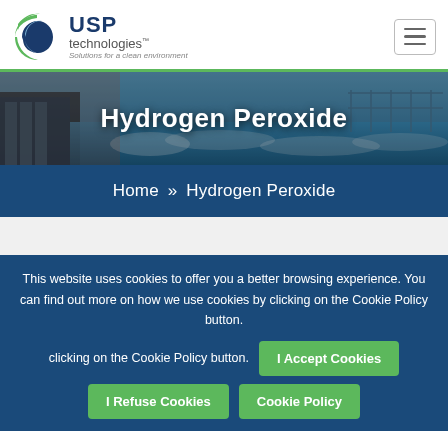[Figure (logo): USP Technologies logo with swirl icon and tagline 'Solutions for a clean environment']
[Figure (photo): Water treatment facility aerial view used as hero banner background]
Hydrogen Peroxide
Home » Hydrogen Peroxide
This website uses cookies to offer you a better browsing experience. You can find out more on how we use cookies by clicking on the Cookie Policy button.
I Accept Cookies
I Refuse Cookies
Cookie Policy